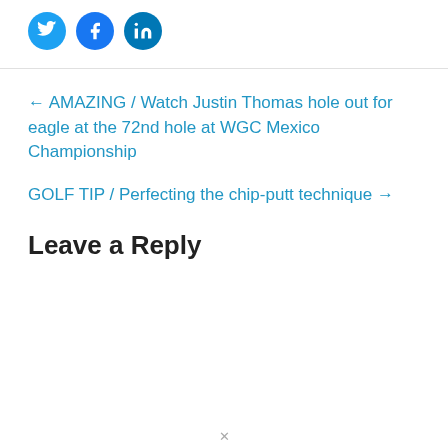[Figure (other): Social media share icons: Twitter (blue bird), Facebook (blue f), LinkedIn (blue in)]
← AMAZING / Watch Justin Thomas hole out for eagle at the 72nd hole at WGC Mexico Championship
GOLF TIP / Perfecting the chip-putt technique →
Leave a Reply